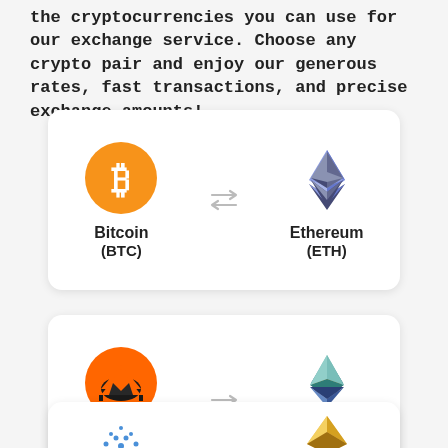the cryptocurrencies you can use for our exchange service. Choose any crypto pair and enjoy our generous rates, fast transactions, and precise exchange amounts!
[Figure (infographic): Card showing Bitcoin (BTC) to Ethereum (ETH) exchange pair with swap arrows icon between them]
[Figure (infographic): Card showing Monero (XMR) to Ethereum (ETH) exchange pair with swap arrows icon between them]
[Figure (infographic): Partial card at bottom showing two cryptocurrency logos (partially visible)]